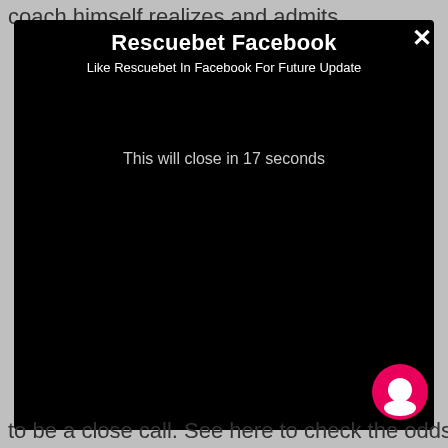coach himself realizes and admits
Rescuebet Facebook
Like Rescuebet In Facebook For Future Update
This will close in 17 seconds
to be a close call. See here to check the odds for this